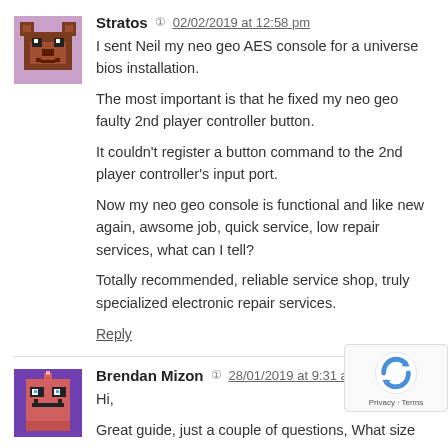[Figure (illustration): Pixel art avatar of Stratos - brown bear-like character on pink/mauve background]
Stratos  02/02/2019 at 12:58 pm
I sent Neil my neo geo AES console for a universe bios installation.
The most important is that he fixed my neo geo faulty 2nd player controller button.

It couldn't register a button command to the 2nd player controller's input port.

Now my neo geo console is functional and like new again, awsome job, quick service, low repair services, what can I tell?

Totally recommended, reliable service shop, truly specialized electronic repair services.
Reply
[Figure (illustration): Pixel art avatar of Brendan Mizon - robot-like character on purple background]
Brendan Mizon  28/01/2019 at 9:31 am
Hi,
Great guide, just a couple of questions, What size are